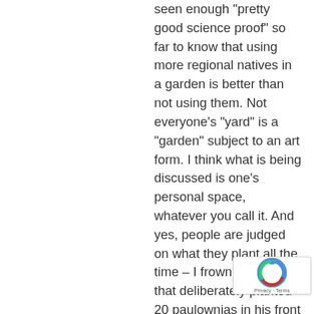seen enough "pretty good science proof" so far to know that using more regional natives in a garden is better than not using them. Not everyone's "yard" is a "garden" subject to an art form. I think what is being discussed is one's personal space, whatever you call it. And yes, people are judged on what they plant all the time – I frown at the guy that deliberately planted 20 paulownias in his front yard every time I pass it. And I know that the seeds from those trees are blowing into neighboring yards and there will be paulownias in that area for